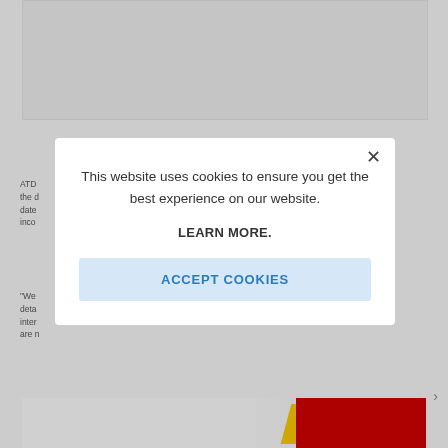[Figure (screenshot): Gray placeholder image area at top of page]
ATD the d date inco
“We deta inter are n
[Figure (screenshot): Cookie consent modal dialog with message: This website uses cookies to ensure you get the best experience on our website. LEARN MORE. ACCEPT COOKIES button. X close button.]
[Figure (photo): Bottom image strip with yellow and red colored elements]